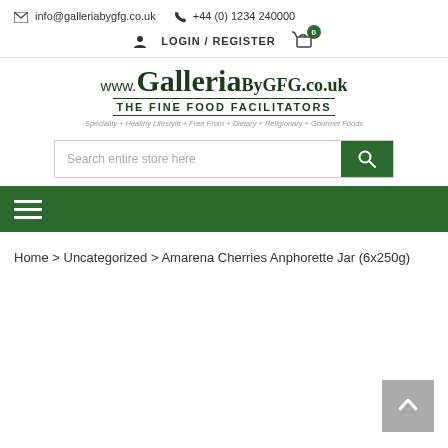info@galleriabygfg.co.uk  +44 (0) 1234 240000
LOGIN / REGISTER  0
[Figure (logo): www.GalleriaByGFG.co.uk THE FINE FOOD FACILITATORS - Speciality + Healthy Lifestyle + Free From + Dietary + Religionary + Gourmet Foods]
Search entire store here
Home > Uncategorized > Amarena Cherries Anphorette Jar (6x250g)